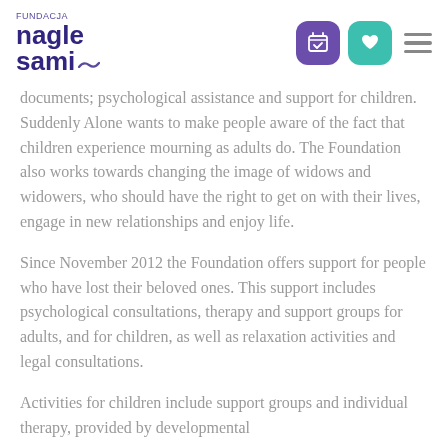Fundacja Nagle Sami — website header with logo and navigation icons
documents; psychological assistance and support for children. Suddenly Alone wants to make people aware of the fact that children experience mourning as adults do. The Foundation also works towards changing the image of widows and widowers, who should have the right to get on with their lives, engage in new relationships and enjoy life.
Since November 2012 the Foundation offers support for people who have lost their beloved ones. This support includes psychological consultations, therapy and support groups for adults, and for children, as well as relaxation activities and legal consultations.
Activities for children include support groups and individual therapy, provided by developmental